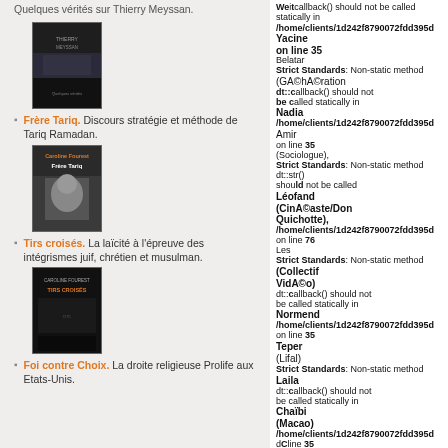Quelques vérités sur Thierry Meyssan.
[Figure (photo): Book cover image - dark mountain/landscape]
Frère Tariq. Discours stratégie et méthode de Tariq Ramadan.
[Figure (photo): Book cover - Frère Tariq with portrait photo]
Tirs croisés. La laïcité à l'épreuve des intégrismes juif, chrétien et musulman.
[Figure (photo): Book cover - Tirs Croisés dark cover]
Foi contre Choix. La droite religieuse Prolife aux Etats-Unis.
dt::callback() should not be called statically in /home/clients/1d242f8790072fdd395d on line 35
Strict Standards: Non-static method dt::callback() should not be called statically in /home/clients/1d242f8790072fdd395d on line 35
Strict Standards: Non-static method dt::str() should not be called statically in /home/clients/1d242f8790072fdd395d on line 76
Strict Standards: Non-static method dt::callback() should not be called statically in /home/clients/1d242f8790072fdd395d on line 35
Strict Standards: Non-static method dt::callback() should not be called statically in /home/clients/1d242f8790072fdd395d on line 35